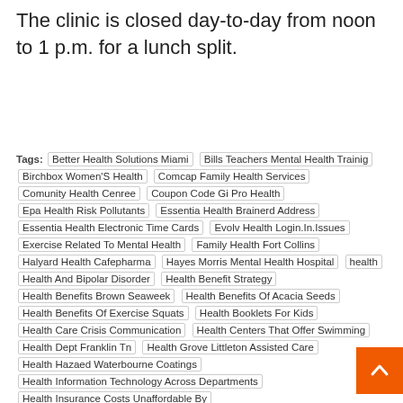The clinic is closed day-to-day from noon to 1 p.m. for a lunch split.
Tags: Better Health Solutions Miami  Bills Teachers Mental Health Trainig  Birchbox Women'S Health  Comcap Family Health Services  Comunity Health Cenree  Coupon Code Gi Pro Health  Epa Health Risk Pollutants  Essentia Health Brainerd Address  Essentia Health Electronic Time Cards  Evolv Health Login.In.Issues  Exercise Related To Mental Health  Family Health Fort Collins  Halyard Health Cafepharma  Hayes Morris Mental Health Hospital  health  Health And Bipolar Disorder  Health Benefit Strategy  Health Benefits Brown Seaweek  Health Benefits Of Acacia Seeds  Health Benefits Of Exercise Squats  Health Booklets For Kids  Health Care Crisis Communication  Health Centers That Offer Swimming  Health Dept Franklin Tn  Health Grove Littleton Assisted Care  Health Hazaed Waterbourne Coatings  Health Information Technology Across Departments  Health Insurance Costs Unaffordable By  Health Insurance Premium Deductible  Health Insurance School Forms  Health Issues Caused By Cavities  Health Mart Grovecity Pa  Health Of Parriots Gronkowski  Hill County Texas Health Inspector  Hilton Employee Health Program  Hippocrates Health Institute Staff  Hopewell Wv Health Care  Jefferson Health System Psychiatry  Julia Roberts  Mj Health Kardashian  Moda Health Referral Form  Monstruck Health Rating  Mufg Union Bank Employee Health  Pe Health Banner  Ri Health Care Proxy  Robert Os 2016 Health  San Diego Public Health Vaccinations  Savannah Memorial Behavioral Health Policy  Tampa Mobile Health Clinic Volunteer  Tan De Health Herbs  Ted Deutch Health